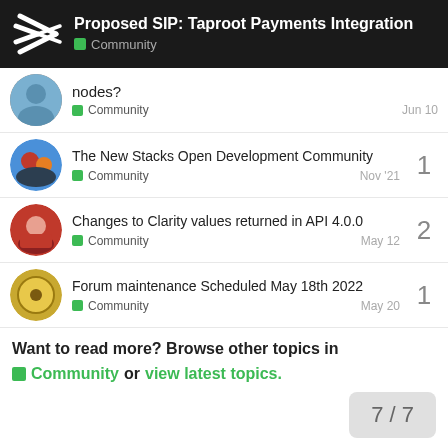Proposed SIP: Taproot Payments Integration — Community
nodes? — Community — Jun 10
The New Stacks Open Development Community — Community — Nov '21 — 1 reply
Changes to Clarity values returned in API 4.0.0 — Community — May 12 — 2 replies
Forum maintenance Scheduled May 18th 2022 — Community — May 20 — 1 reply
Want to read more? Browse other topics in Community or view latest topics.
7 / 7